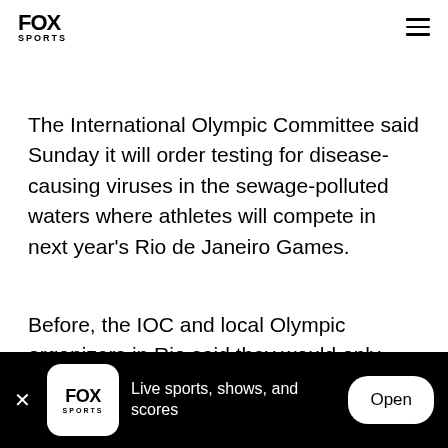FOX SPORTS
The International Olympic Committee said Sunday it will order testing for disease-causing viruses in the sewage-polluted waters where athletes will compete in next year's Rio de Janeiro Games.
Before, the IOC and local Olympic organizers in Rio said they would only test for bacteria in the water, as Brazilian state law allocations have not yet reached
FOX SPORTS — Live sports, shows, and scores — Open